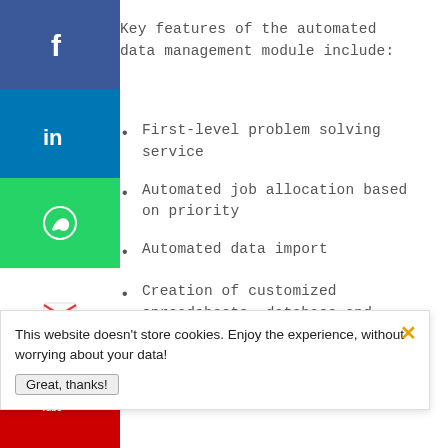Key features of the automated data management module include:
First-level problem solving service
Automated job allocation based on priority
Automated data import
Creation of customized spreadsheets, database and dashboards
Automated incident management
3.  Real time handling of multiple clients
This website doesn't store cookies. Enjoy the experience, without worrying about your data!
Great, thanks!